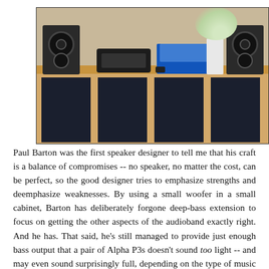[Figure (photo): A photo of a wooden media console/shelf with two dark bookshelf speakers on either end, a small soundbar unit, a blue turntable with clear dust cover, and a white vase with white flowers. The shelf has four dark fabric storage cubbies underneath.]
Paul Barton was the first speaker designer to tell me that his craft is a balance of compromises -- no speaker, no matter the cost, can be perfect, so the good designer tries to emphasize strengths and deemphasize weaknesses. By using a small woofer in a small cabinet, Barton has deliberately forgone deep-bass extension to focus on getting the other aspects of the audioband exactly right. And he has. That said, he's still managed to provide just enough bass output that a pair of Alpha P3s doesn't sound too light -- and may even sound surprisingly full, depending on the type of music you play. The strengths Barton has emphasized